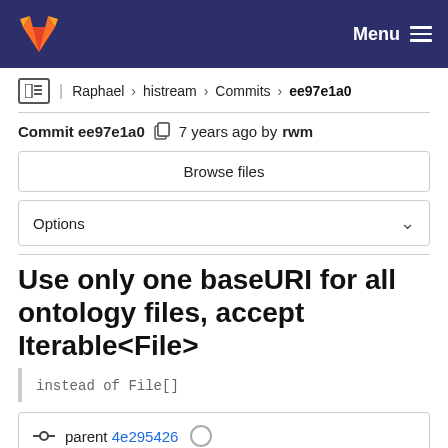Menu
Raphael > histream > Commits > ee97e1a0
Commit ee97e1a0  7 years ago by rwm
Browse files
Options
Use only one baseURI for all ontology files, accept Iterable<File>
instead of File[]
parent 4e295426